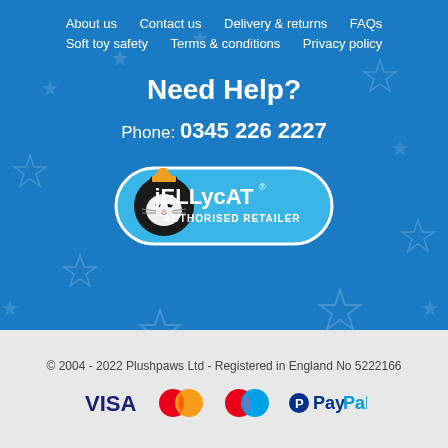About us  Contact us  Delivery & returns  FAQs  Soft toy safety  Terms & conditions  Privacy policy
Need Help?
Phone: 0345 226 2227
[Figure (logo): Jellycat Authorised Retailer badge - a rounded rectangle badge with light blue background, Jellycat cat character logo on left, text 'jELLycAT AUTHORISED RETAILER' in white]
© 2004 - 2022 Plushpaws Ltd - Registered in England No 5222166
[Figure (logo): Payment icons: VISA, Mastercard, Maestro, PayPal]